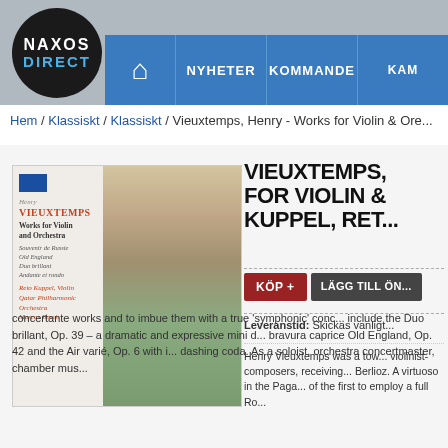NAXOS DIRECT — Navigation: Home, NYHETER, KOMMANDE, KAM...
Hem / Klassiskt / Klassiskt / Vieuxtemps, Henry - Works for Violin & Ore...
[Figure (photo): Album cover for Henry Vieuxtemps Works for Violin and Orchestra featuring Souvenir de Russie, Old England, Duo brillant, Andante et rondo. Performers: Reto Kuppel Violin, Qatar Philharmonic Orchestra, Marcus Bosch. Includes portrait painting of young man.]
VIEUXTEMPS, WORKS FOR VIOLIN & KUPPEL, RET...
KÖP + | LÄGG TILL ÖN...
Leveranstid: Skickas vanligt...
Henry Vieuxtemps was a tow... violinist-composers, receiving... Berlioz. A virtuoso in the Paga... of the first to employ a full Ro... concertante works and to imbue them with a true 'symphonic' conc... include the Duo brillant, Op. 39 – a dramatic and expressive mini d... bravura caprice Old England, Op. 42 and the Air varié, Op. 6 with i... dashing coda. As a soloist, orchestra concertmaster, chamber mus...